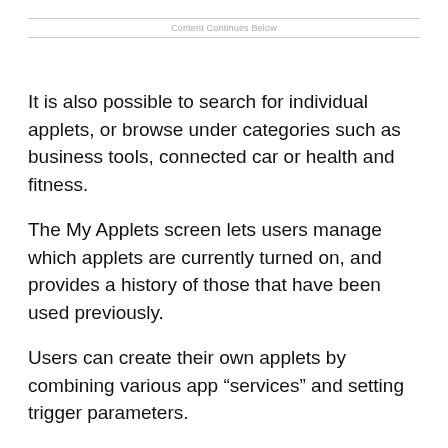Content Continues Below
It is also possible to search for individual applets, or browse under categories such as business tools, connected car or health and fitness.
The My Applets screen lets users manage which applets are currently turned on, and provides a history of those that have been used previously.
Users can create their own applets by combining various app “services” and setting trigger parameters.